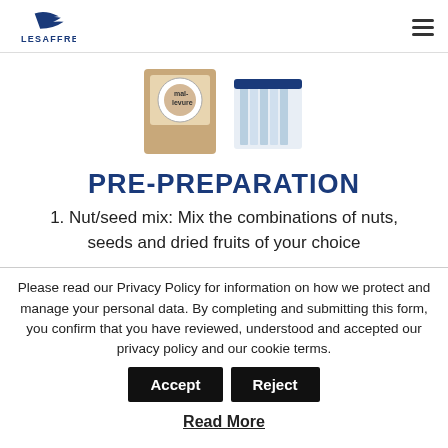LESAFFRE
[Figure (photo): Product packaging images showing two Lesaffre branded products side by side]
PRE-PREPARATION
1. Nut/seed mix: Mix the combinations of nuts, seeds and dried fruits of your choice
Please read our Privacy Policy for information on how we protect and manage your personal data. By completing and submitting this form, you confirm that you have reviewed, understood and accepted our privacy policy and our cookie terms.
Read More